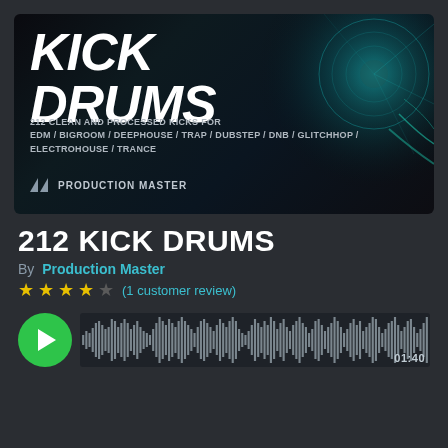[Figure (illustration): Product cover art for 212 Kick Drums by Production Master. Dark background with teal/cyan circular geometric design and speaker imagery. Large bold italic white text reads KICK DRUMS. Subtitle text says 212 CLEAN AND PROCESSED KICKS FOR EDM / BIGROOM / DEEPHOUSE / TRAP / DUBSTEP / DNB / GLITCHHOP / ELECTROHOUSE / TRANCE. Production Master logo at bottom left.]
212 KICK DRUMS
By Production Master
★★★★☆ (1 customer review)
[Figure (other): Audio waveform player with green play button on left and waveform visualization in grey/white bars on dark background showing audio preview. Time indicator shows 01:40.]